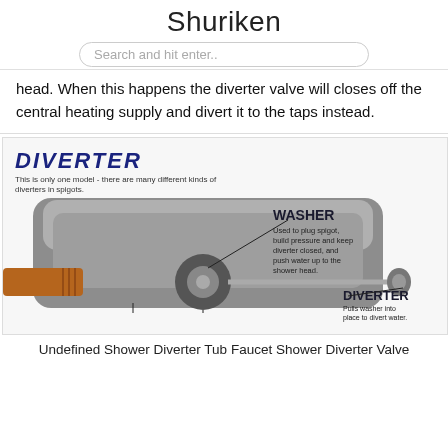Shuriken
Search and hit enter..
head. When this happens the diverter valve will closes off the central heating supply and divert it to the taps instead.
[Figure (illustration): Diagram of a diverter valve spigot with labels: DIVERTER (Pulls washer into place to divert water), WASHER (Used to plug spigot, build pressure and keep diverter closed, and push water up to the shower head). Caption: This is only one model - there are many different kinds of diverters in spigots.]
Undefined Shower Diverter Tub Faucet Shower Diverter Valve